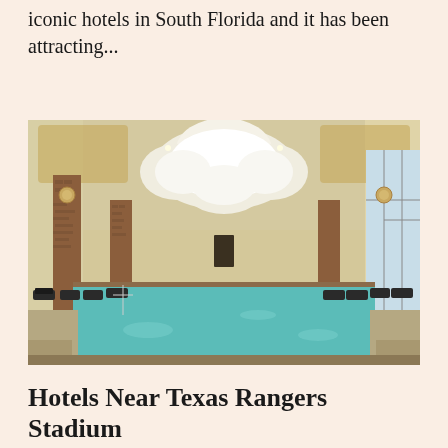iconic hotels in South Florida and it has been attracting...
[Figure (photo): Indoor hotel swimming pool with turquoise water, lounge chairs along the sides, brick columns, large windows on the right wall, and an ornate coffered ceiling with a large white decorative element in the center.]
Hotels Near Texas Rangers Stadium